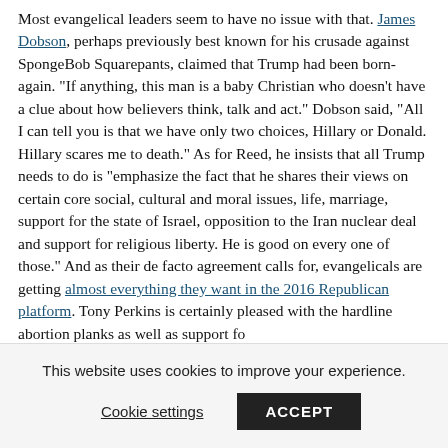Most evangelical leaders seem to have no issue with that. James Dobson, perhaps previously best known for his crusade against SpongeBob Squarepants, claimed that Trump had been born-again. "If anything, this man is a baby Christian who doesn't have a clue about how believers think, talk and act." Dobson said, "All I can tell you is that we have only two choices, Hillary or Donald. Hillary scares me to death." As for Reed, he insists that all Trump needs to do is "emphasize the fact that he shares their views on certain core social, cultural and moral issues, life, marriage, support for the state of Israel, opposition to the Iran nuclear deal and support for religious liberty. He is good on every one of those." And as their de facto agreement calls for, evangelicals are getting almost everything they want in the 2016 Republican platform. Tony Perkins is certainly pleased with the hardline abortion planks as well as support fo...
This website uses cookies to improve your experience.
Cookie settings
ACCEPT